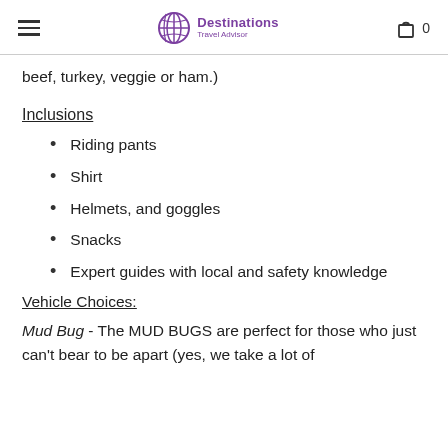Destinations Travel Advisor
beef, turkey, veggie or ham.)
Inclusions
Riding pants
Shirt
Helmets, and goggles
Snacks
Expert guides with local and safety knowledge
Vehicle Choices:
Mud Bug - The MUD BUGS are perfect for those who just can't bear to be apart (yes, we take a lot of